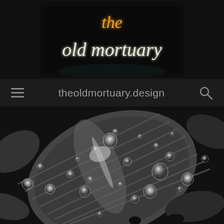[Figure (logo): The Old Mortuary neon sign logo — cursive white/gold neon lettering on dark background reading 'the old mortuary']
theoldmortuary.design
[Figure (photo): Black and white close-up photograph of large leaves covered in water droplets/raindrops]